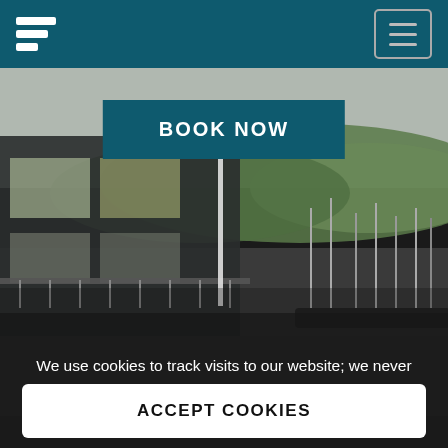[Figure (screenshot): Website header with teal background, white stacked logo on left, and hamburger menu button on right]
[Figure (photo): Hero photograph of a modern waterfront building with floor-to-ceiling windows overlooking a marina with sailboats and green hills in the background]
BOOK NOW
We use cookies to track visits to our website; we never store your personal details. Learn More.
ACCEPT COOKIES